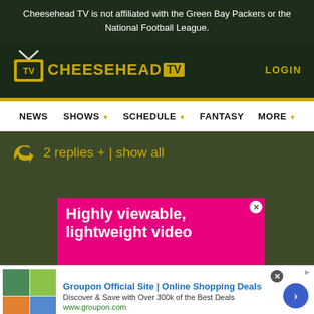Cheesehead TV is not affiliated with the Green Bay Packers or the National Football League.
[Figure (logo): Cheesehead TV logo with gold text and TV icon with antenna, on dark green background]
LOGIN
[Figure (screenshot): Navigation bar with items: NEWS, SHOWS, SCHEDULE, FANTASY, MORE]
2 replies +  |  show all
[Figure (infographic): Pink advertisement banner reading 'Highly viewable, lightweight video']
[Figure (infographic): Groupon advertisement: 'Groupon Official Site | Online Shopping Deals - Discover & Save with Over 300k of the Best Deals - www.groupon.com']